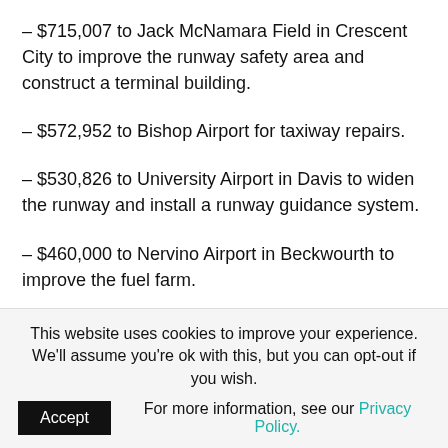– $715,007 to Jack McNamara Field in Crescent City to improve the runway safety area and construct a terminal building.
– $572,952 to Bishop Airport for taxiway repairs.
– $530,826 to University Airport in Davis to widen the runway and install a runway guidance system.
– $460,000 to Nervino Airport in Beckwourth to improve the fuel farm.
– $422,356 to Fall River Mills Airport for runway, taxiway and
This website uses cookies to improve your experience. We'll assume you're ok with this, but you can opt-out if you wish. Accept For more information, see our Privacy Policy.